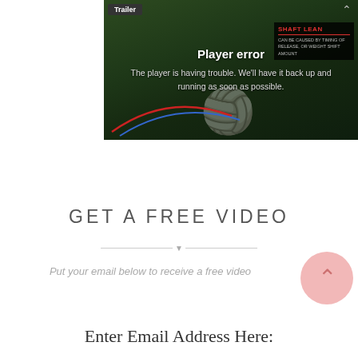[Figure (screenshot): Video player showing a golf instruction video with a player error overlay. A 'Trailer' badge is in the top-left. The error reads 'Player error' and 'The player is having trouble. We'll have it back up and running as soon as possible.' A 'SHAFT LEAN' annotation box is visible on the right side.]
GET A FREE VIDEO
Put your email below to receive a free video
Enter Email Address Here: